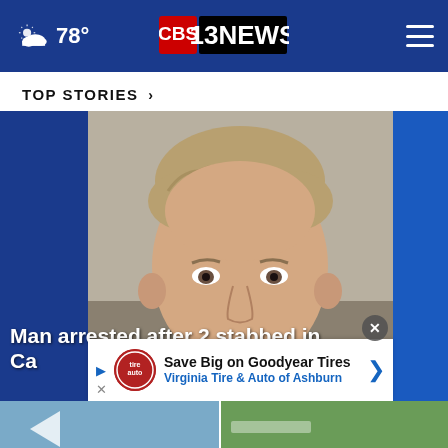78° — CBS 13 NEWS
TOP STORIES ›
[Figure (photo): Mugshot of a middle-aged white male with short light brown hair, against a gray/beige background. Left and right sides of frame show blue background panels. Overlay text reads: Man arrested after 2 stabbed in Ca...]
[Figure (screenshot): Advertisement banner: Save Big on Goodyear Tires — Virginia Tire & Auto of Ashburn]
[Figure (photo): Bottom thumbnail strip: two partial images partially visible at the bottom of the page]